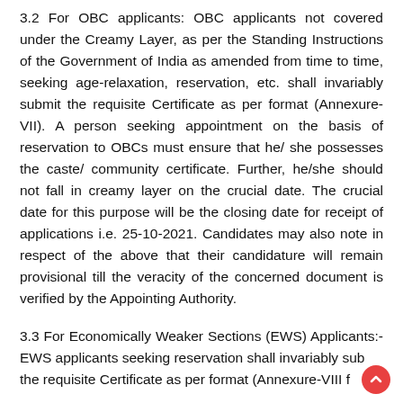3.2 For OBC applicants: OBC applicants not covered under the Creamy Layer, as per the Standing Instructions of the Government of India as amended from time to time, seeking age-relaxation, reservation, etc. shall invariably submit the requisite Certificate as per format (Annexure-VII). A person seeking appointment on the basis of reservation to OBCs must ensure that he/ she possesses the caste/ community certificate. Further, he/she should not fall in creamy layer on the crucial date. The crucial date for this purpose will be the closing date for receipt of applications i.e. 25-10-2021. Candidates may also note in respect of the above that their candidature will remain provisional till the veracity of the concerned document is verified by the Appointing Authority.
3.3 For Economically Weaker Sections (EWS) Applicants:- EWS applicants seeking reservation shall invariably sub the requisite Certificate as per format (Annexure-VIII for